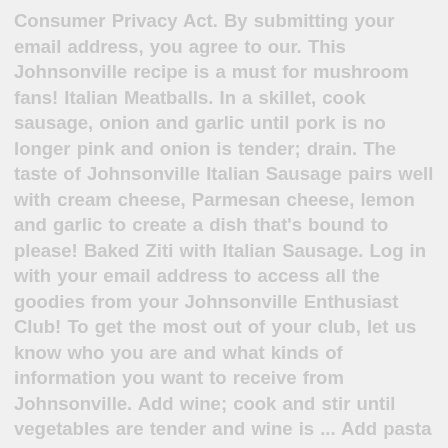Consumer Privacy Act. By submitting your email address, you agree to our. This Johnsonville recipe is a must for mushroom fans! Italian Meatballs. In a skillet, cook sausage, onion and garlic until pork is no longer pink and onion is tender; drain. The taste of Johnsonville Italian Sausage pairs well with cream cheese, Parmesan cheese, lemon and garlic to create a dish that's bound to please! Baked Ziti with Italian Sausage. Log in with your email address to access all the goodies from your Johnsonville Enthusiast Club! To get the most out of your club, let us know who you are and what kinds of information you want to receive from Johnsonville. Add wine; cook and stir until vegetables are tender and wine is ... Add pasta sauce to the sausage mixture and set aside. Get the most from Johnsonville when you join the club. The flavor of the Italian sausages will help to make this recipe your new lasagna favorite! Arancini Rice Balls with Sausage and Peas. The All Natural Hot Ground Italian Sausage puts these over the top. Shape into 20 meatballs. Grilled Italian Sausage with Sweet 'n Sour Peppers. Hot Italian Sausage and Shrimp with Asiago Grits. Easy Breakfast Pizza. Apple Sausage Biscuit Bread ... Cornbread with Italian Hot Ground Sausage and Red Peppers. Log in with your email address to access all the goodies from your Johnsonville Enthusiast Club! Recipes Home: Italian Sausage : 119 Recipes Italian Sausage Lasagna.